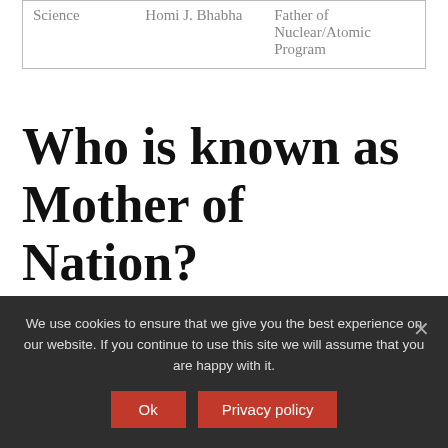| Science | Homi J. Bhabha | Father of Nuclear/Atomic Program |
Who is known as Mother of Nation?
List
| Name | Nation | Title (translation) |
| --- | --- | --- |
We use cookies to ensure that we give you the best experience on our website. If you continue to use this site we will assume that you are happy with it.